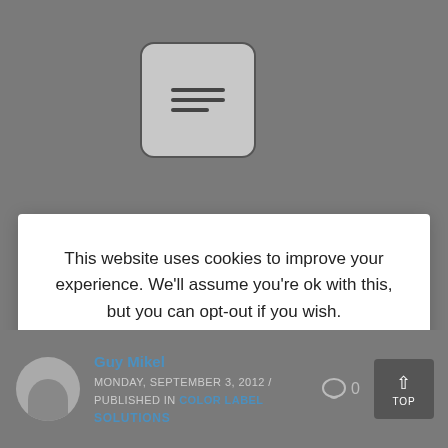[Figure (screenshot): Menu/hamburger icon in a rounded rectangle button on gray background]
This website uses cookies to improve your experience. We'll assume you're ok with this, but you can opt-out if you wish.
Accept
Reject
Read More About Cookies on Our Privacy Policy
Guy Mikel
MONDAY, SEPTEMBER 3, 2012 / PUBLISHED IN COLOR LABEL
SOLUTIONS